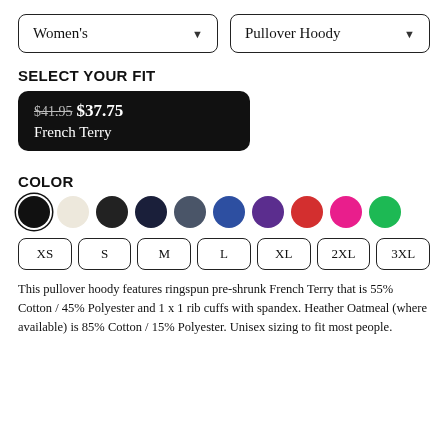Women's | Pullover Hoody (dropdowns)
SELECT YOUR FIT
$41.95 $37.75 French Terry
COLOR
[Figure (other): Color swatches: black (selected), oatmeal, dark charcoal, navy, slate, royal blue, purple, red, hot pink, green]
XS S M L XL 2XL 3XL
This pullover hoody features ringspun pre-shrunk French Terry that is 55% Cotton / 45% Polyester and 1 x 1 rib cuffs with spandex. Heather Oatmeal (where available) is 85% Cotton / 15% Polyester. Unisex sizing to fit most people.